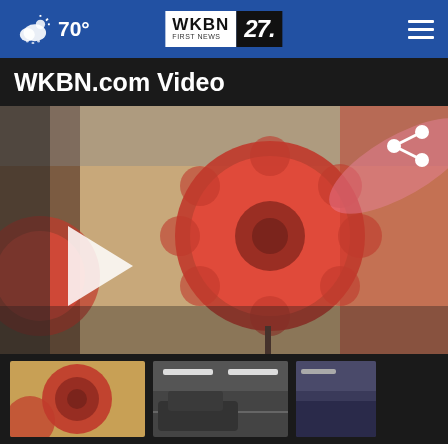70° WKBN First News 27
WKBN.com Video
[Figure (screenshot): Video player showing red dahlia flowers in close-up, with a white play button triangle on the left side and a share icon in the top-right corner]
[Figure (photo): Three video thumbnails at the bottom: red dahlia flowers (left), indoor/parking area with fluorescent lights (center), and a partially visible third thumbnail (right)]